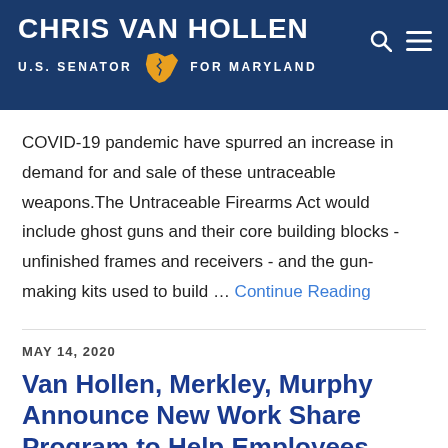CHRIS VAN HOLLEN U.S. SENATOR FOR MARYLAND
COVID-19 pandemic have spurred an increase in demand for and sale of these untraceable weapons.The Untraceable Firearms Act would include ghost guns and their core building blocks - unfinished frames and receivers - and the gun-making kits used to build … Continue Reading
MAY 14, 2020
Van Hollen, Merkley, Murphy Announce New Work Share Program to Help Employees